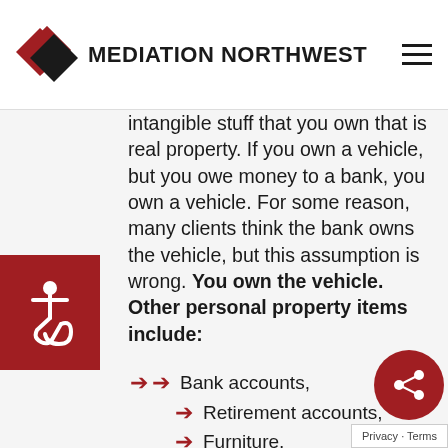MEDIATION NORTHWEST
intangible stuff that you own that is real property. If you own a vehicle, but you owe money to a bank, you own a vehicle. For some reason, many clients think the bank owns the vehicle, but this assumption is wrong. You own the vehicle. Other personal property items include:
Bank accounts,
Retirement accounts,
Furniture,
Art,
Jewelry,
Tools,